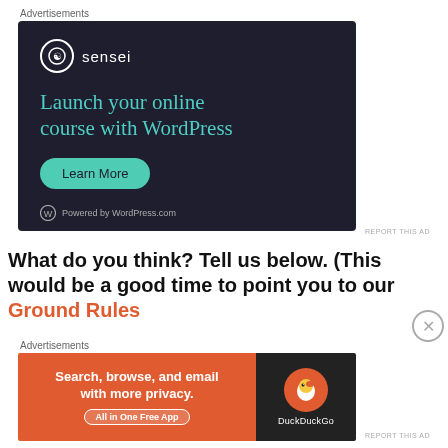Advertisements
[Figure (screenshot): Sensei advertisement: dark background with teal/green text reading 'Launch your online course with WordPress', a 'Learn More' button, sensei logo, and 'Powered by WordPress.com' footer.]
REPORT THIS AD
What do you think? Tell us below. (This would be a good time to point you to our Ground Rules
Advertisements
[Figure (screenshot): DuckDuckGo advertisement: orange background with white text 'Search, browse, and email with more privacy. All in One Free App' on the left, and DuckDuckGo logo on dark background on the right.]
REPORT THIS AD